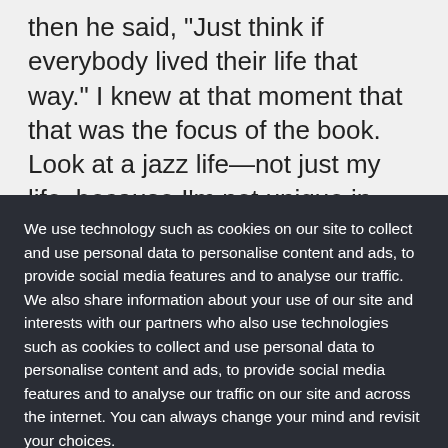then he said, "Just think if everybody lived their life that way." I knew at that moment that that was the focus of the book. Look at a jazz life—not just my life, because I'm not unique in that. I know other jazz musicians who have walked onstage and it isn't just "The show must go on," because for some showbiz types, narcissism can get them onstage. With a jazz
We use technology such as cookies on our site to collect and use personal data to personalise content and ads, to provide social media features and to analyse our traffic. We also share information about your use of our site and interests with our partners who also use technologies such as cookies to collect and use personal data to personalise content and ads, to provide social media features and to analyse our traffic on our site and across the internet. You can always change your mind and revisit your choices.
Manage Options
I Accept